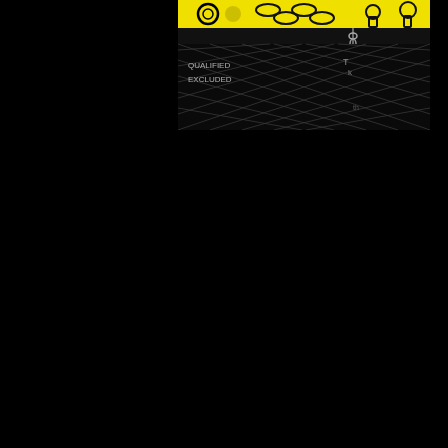[Figure (illustration): A small graphic in the upper-center-right area of an otherwise black page. The graphic has a bright yellow top bar with decorative circular/chain motifs in black, followed by a thin black strip with a dangling chain/key element, and a lower section with a black diamond lattice/grid pattern on a dark background. Some small text is visible within the diamond grid pattern.]